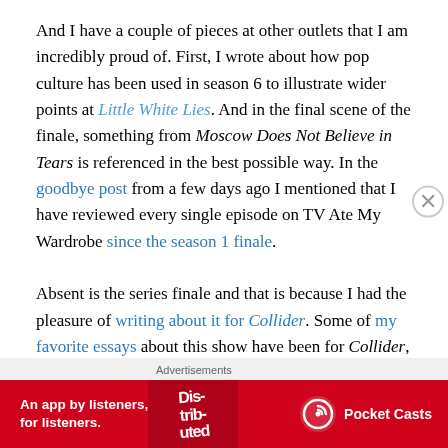And I have a couple of pieces at other outlets that I am incredibly proud of. First, I wrote about how pop culture has been used in season 6 to illustrate wider points at Little White Lies. And in the final scene of the finale, something from Moscow Does Not Believe in Tears is referenced in the best possible way. In the goodbye post from a few days ago I mentioned that I have reviewed every single episode on TV Ate My Wardrobe since the season 1 finale.

Absent is the series finale and that is because I had the pleasure of writing about it for Collider. Some of my favorite essays about this show have been for Collider, I
[Figure (screenshot): Advertisement banner for Pocket Casts app: red background with text 'An app by listeners, for listeners.' and Pocket Casts logo on right, stylized phone image in center-right area.]